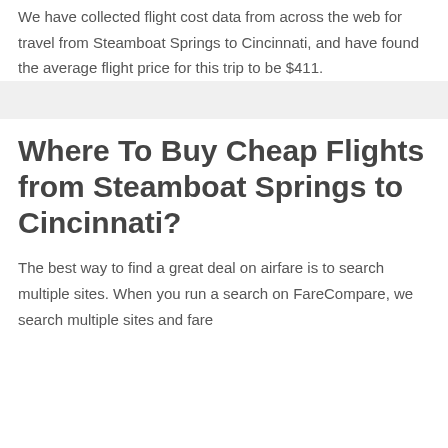We have collected flight cost data from across the web for travel from Steamboat Springs to Cincinnati, and have found the average flight price for this trip to be $411.
Where To Buy Cheap Flights from Steamboat Springs to Cincinnati?
The best way to find a great deal on airfare is to search multiple sites. When you run a search on FareCompare, we search multiple sites and fare